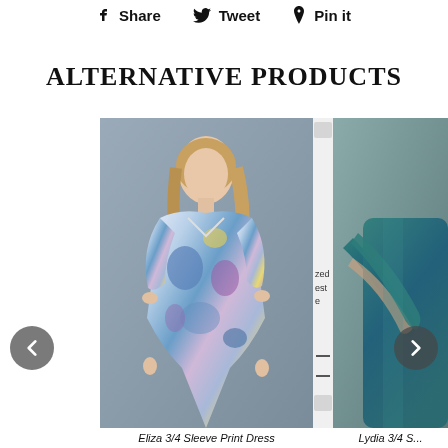Share  Tweet  Pin it
ALTERNATIVE PRODUCTS
[Figure (photo): Model wearing a floral/watercolor print 3/4 sleeve dress, photographed against a grey background]
[Figure (photo): Partial view of model wearing a teal/dark green 3/4 sleeve dress]
Eliza 3/4 Sleeve Print Dress
Lydia 3/4 S...